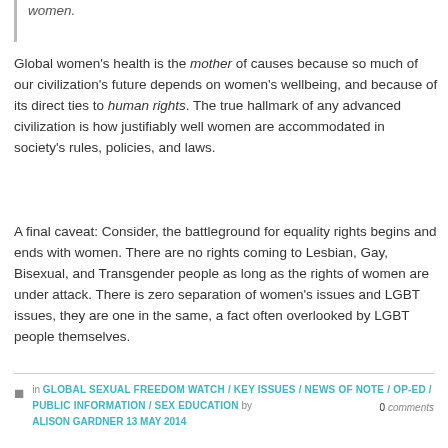women.
Global women's health is the mother of causes because so much of our civilization's future depends on women's wellbeing, and because of its direct ties to human rights. The true hallmark of any advanced civilization is how justifiably well women are accommodated in society's rules, policies, and laws.
A final caveat: Consider, the battleground for equality rights begins and ends with women. There are no rights coming to Lesbian, Gay, Bisexual, and Transgender people as long as the rights of women are under attack. There is zero separation of women's issues and LGBT issues, they are one in the same, a fact often overlooked by LGBT people themselves.
in GLOBAL SEXUAL FREEDOM WATCH / KEY ISSUES / NEWS OF NOTE / OP-ED / PUBLIC INFORMATION / SEX EDUCATION by ALISON GARDNER 13 MAY 2014  0 comments